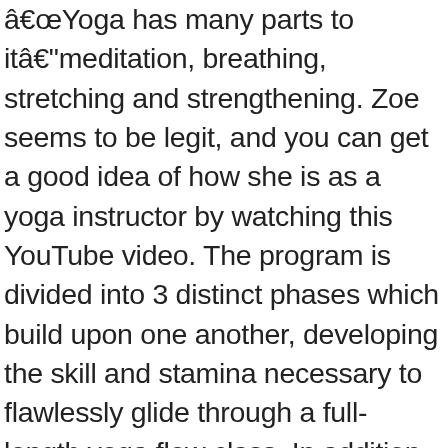…Yoga has many parts to it…meditation, breathing, stretching and strengthening. Zoe seems to be legit, and you can get a good idea of how she is as a yoga instructor by watching this YouTube video. The program is divided into 3 distinct phases which build upon one another, developing the skill and stamina necessary to flawlessly glide through a full-length yoga flow class. In addition to the physical system which comes with the custom Yoga Burn Body Band, Total Body Challenge members are also immediately granted digital access to the entire program through any mobile device, desktop or laptop. Aside from being beautiful, Zoe is also genius. What if the workouts are too hard for me? The Yoga Burn Booty Challenge is not perfect, though. 3.8 out of 5 stars 24. Instructed by the Better Business Bureau ( BBB ), they do have an B+ rating levels from very beginners… Concentrating on various female-body